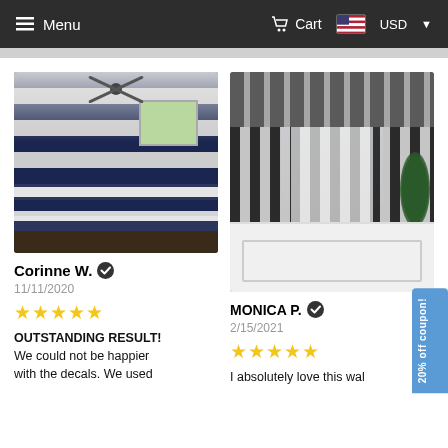Menu  Cart  USD
[Figure (photo): Bedroom with navy blue and white horizontal striped walls and matching striped bedding, ceiling fan visible]
Corinne W. ✓
11/11/2020
★★★★★
OUTSTANDING RESULT! We could not be happier with the decals. We used
[Figure (photo): Salon reception area with black and white vertical stripe walls, crystal chandelier, white reception counter]
MONICA P. ✓
2/15/2021
★★★★★
I absolutely love this wal